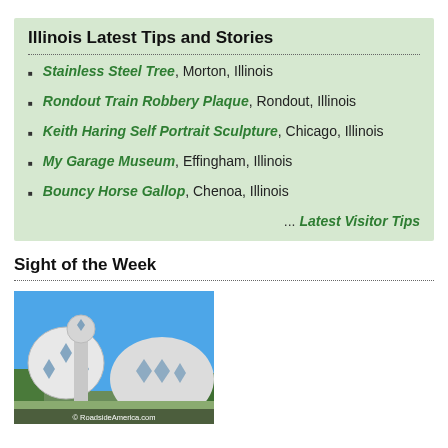Illinois Latest Tips and Stories
Stainless Steel Tree, Morton, Illinois
Rondout Train Robbery Plaque, Rondout, Illinois
Keith Haring Self Portrait Sculpture, Chicago, Illinois
My Garage Museum, Effingham, Illinois
Bouncy Horse Gallop, Chenoa, Illinois
... Latest Visitor Tips
Sight of the Week
[Figure (photo): A building with dome-like geodesic sphere structures with diamond-shaped windows, against a blue sky, with a copyright watermark '© RoadsideAmerica.com']